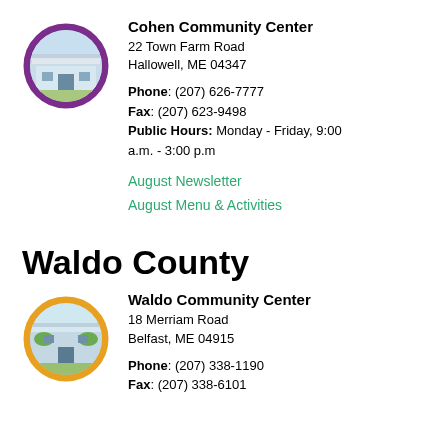[Figure (photo): Circular photo of Cohen Community Center building with purple border]
Cohen Community Center
22 Town Farm Road
Hallowell, ME 04347

Phone: (207) 626-7777
Fax: (207) 623-9498
Public Hours: Monday - Friday, 9:00 a.m. - 3:00 p.m
August Newsletter
August Menu & Activities
Waldo County
[Figure (photo): Circular photo of Waldo Community Center building with orange border]
Waldo Community Center
18 Merriam Road
Belfast, ME 04915

Phone: (207) 338-1190
Fax: (207) 338-6101